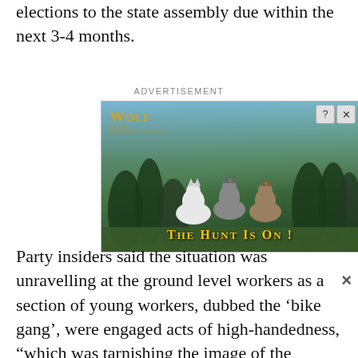elections to the state assembly due within the next 3-4 months.
ADVERTISEMENT
[Figure (photo): Wolf Game: The Wild Kingdom advertisement banner showing wolves in a forest landscape with text 'THE HUNT IS ON!']
Party insiders said the situation was unravelling at the ground level workers as a section of young workers, dubbed the ‘bike gang’, were engaged acts of high-handedness, “which was tarnishing the image of the party.” Senior leaders were repeatedly dispatching